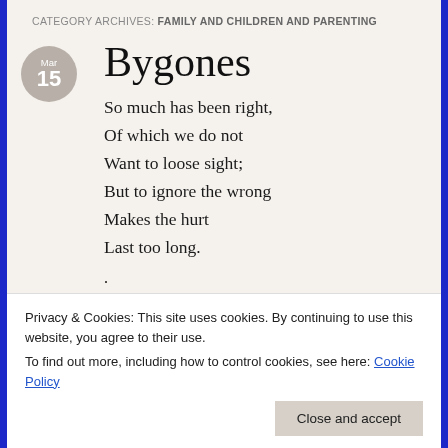CATEGORY ARCHIVES: FAMILY AND CHILDREN AND PARENTING
Bygones
So much has been right,
Of which we do not
Want to loose sight;
But to ignore the wrong
Makes the hurt
Last too long.
.
Agawela 3.15.2021
©Bearspawprint2021
Posted in abuser, Aesthetics, Agawela, Bear, BEARSPAWPRINT, breaking up, BUMP ONNA LOG
3 Comments
Privacy & Cookies: This site uses cookies. By continuing to use this website, you agree to their use.
To find out more, including how to control cookies, see here: Cookie Policy
Close and accept